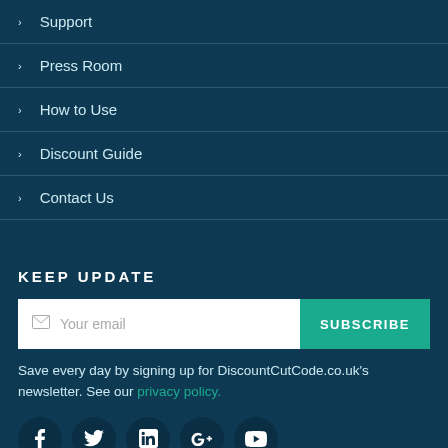Support
Press Room
How to Use
Discount Guide
Contact Us
KEEP UPDATE
Save every day by signing up for DiscountCutCode.co.uk's newsletter. See our privacy policy.
[Figure (infographic): Row of 5 social media icon circles: Facebook, Twitter, LinkedIn, Google+, YouTube]